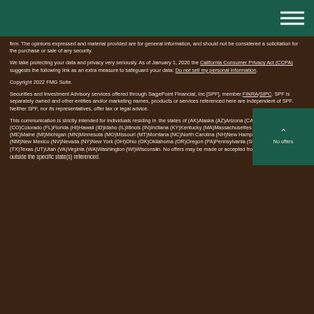firm. The opinions expressed and material provided are for general information, and should not be considered a solicitation for the purchase or sale of any security.
We take protecting your data and privacy very seriously. As of January 1, 2020 the California Consumer Privacy Act (CCPA) suggests the following link as an extra measure to safeguard your data: Do not sell my personal information.
Copyright 2022 FMG Suite.
Securities and Investment Advisory services offered through SagePoint Financial, Inc [SPF], member FINRA/SIPC. SPF is separately owned and other entities and/or marketing names, products or services referenced here are independent of SPF. Neither SPF, nor its representatives, offer tax or legal advice.
This communication is strictly intended for individuals residing in the states of (AK)Alaska (AZ)Arizona (CA)California (CO)Colorado (FL)Florida (HI)Hawaii (ID)Idaho (IL)Illinois (IN)Indiana (KY)Kentucky (MA)Massachusettes (MD)Maryland (ME)Maine (MI)Michigan (MN)Minnesota (MO)Missouri (MT)Montana (NC)North Carolina (NH)New Hampshire (NJ)New Jersey (NM)New Mexico (NV)Nevada (NY)New York (OH)Ohio (OK)Oklahoma (OR)Oregon (PA)Pennsylvania (SC)South Carolina (TX)Texas (UT)Utah (VA)Virginia (WA)Washington (WI)Wisconsin. No offers may be made or accepted from any resident outside the specific state(s) referenced.